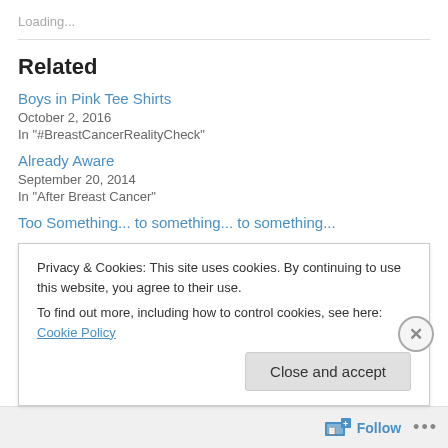Loading...
Related
Boys in Pink Tee Shirts
October 2, 2016
In "#BreastCancerRealityCheck"
Already Aware
September 20, 2014
In "After Breast Cancer"
Too Something... (partially visible)
Privacy & Cookies: This site uses cookies. By continuing to use this website, you agree to their use.
To find out more, including how to control cookies, see here: Cookie Policy
Close and accept
Follow ...